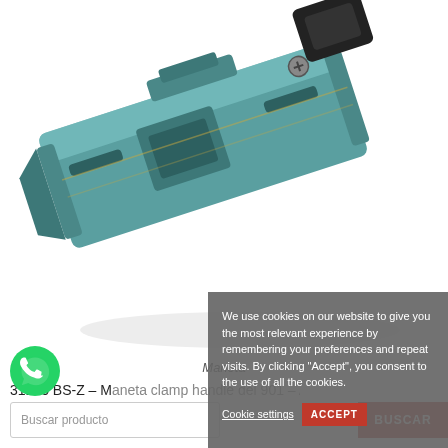[Figure (photo): Close-up photo of a teal/green metal bracket or handle component (Maneta) against a white background.]
Maneta
31125 BS-Z – M... (product title partially obscured by cookie overlay)
We use cookies on our website to give you the most relevant experience by remembering your preferences and repeat visits. By clicking “Accept”, you consent to the use of all the cookies.
Cookie settings  ACCEPT
Buscar producto
BUSCAR